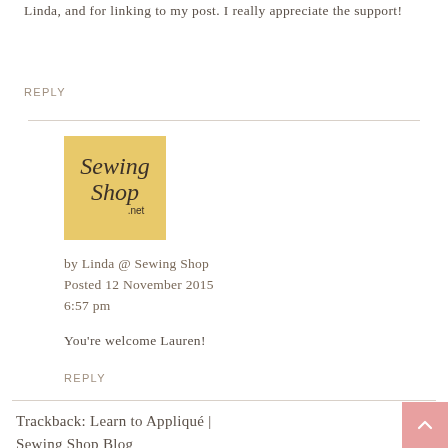Linda, and for linking to my post. I really appreciate the support!
REPLY
[Figure (logo): Sewing Shop .net logo on a golden yellow square background]
by Linda @ Sewing Shop
Posted 12 November 2015 6:57 pm
You're welcome Lauren!
REPLY
Trackback: Learn to Appliqué | Sewing Shop Blog